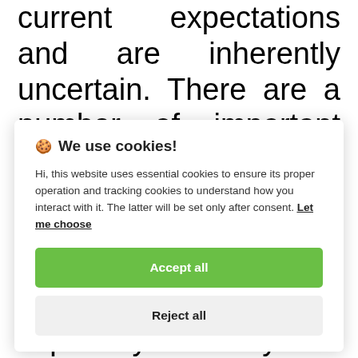current expectations and are inherently uncertain. There are a number of important factors that could materially impact the value of our common stock or cause actual results to differ materially
[Figure (screenshot): Cookie consent popup overlay with title 'We use cookies!', body text explaining cookie usage, a 'Let me choose' link, an 'Accept all' green button, and a 'Reject all' grey button.]
may fall below expectations in any